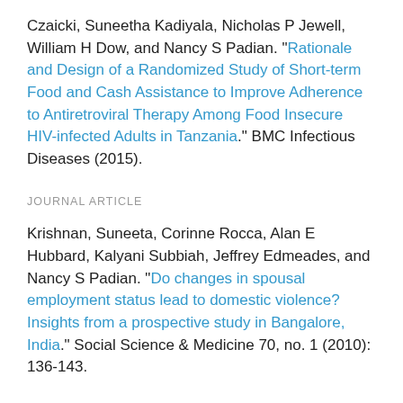Czaicki, Suneetha Kadiyala, Nicholas P Jewell, William H Dow, and Nancy S Padian. "Rationale and Design of a Randomized Study of Short-term Food and Cash Assistance to Improve Adherence to Antiretroviral Therapy Among Food Insecure HIV-infected Adults in Tanzania." BMC Infectious Diseases (2015).
JOURNAL ARTICLE
Krishnan, Suneeta, Corinne Rocca, Alan E Hubbard, Kalyani Subbiah, Jeffrey Edmeades, and Nancy S Padian. "Do changes in spousal employment status lead to domestic violence? Insights from a prospective study in Bangalore, India." Social Science & Medicine 70, no. 1 (2010): 136-143.